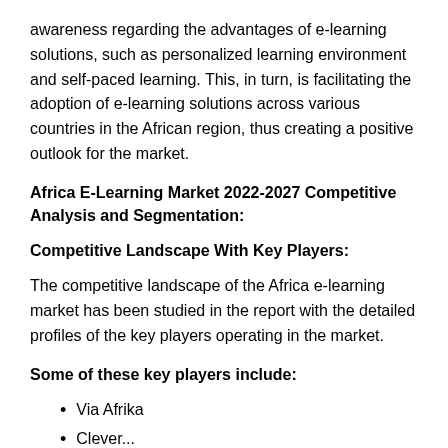awareness regarding the advantages of e-learning solutions, such as personalized learning environment and self-paced learning. This, in turn, is facilitating the adoption of e-learning solutions across various countries in the African region, thus creating a positive outlook for the market.
Africa E-Learning Market 2022-2027 Competitive Analysis and Segmentation:
Competitive Landscape With Key Players:
The competitive landscape of the Africa e-learning market has been studied in the report with the detailed profiles of the key players operating in the market.
Some of these key players include:
Via Afrika
Clever...